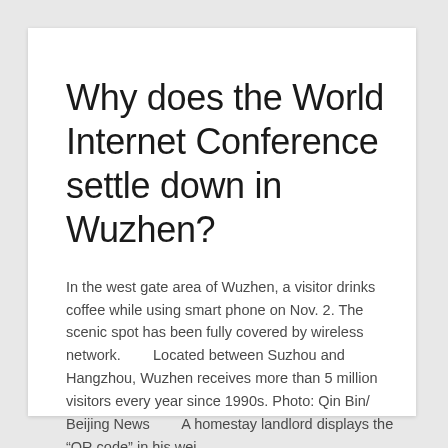Why does the World Internet Conference settle down in Wuzhen?
In the west gate area of Wuzhen, a visitor drinks coffee while using smart phone on Nov. 2. The scenic spot has been fully covered by wireless network.        Located between Suzhou and Hangzhou, Wuzhen receives more than 5 million visitors every year since 1990s. Photo: Qin Bin/ Beijing News        A homestay landlord displays the “QR code” in his wei…